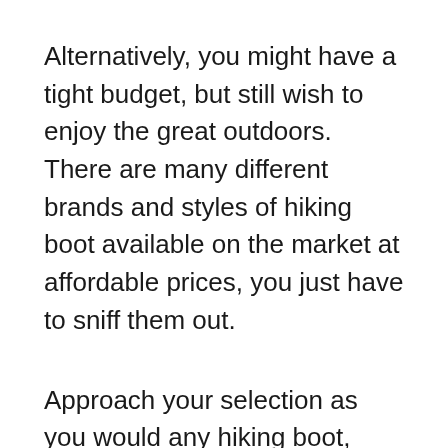Alternatively, you might have a tight budget, but still wish to enjoy the great outdoors. There are many different brands and styles of hiking boot available on the market at affordable prices, you just have to sniff them out.
Approach your selection as you would any hiking boot, they all share common qualities, but materials and build affect the overall cost. Bear in mind that the durability of the boots will not be as